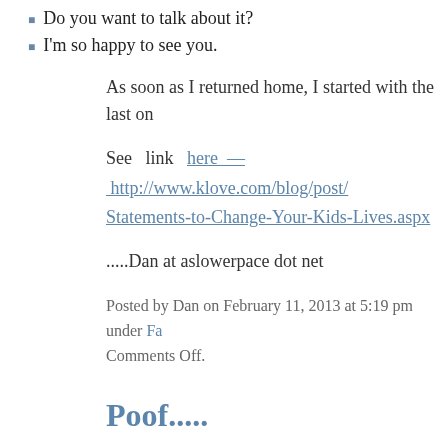Do you want to talk about it?
I'm so happy to see you.
As soon as I returned home, I started with the last on
See link here — http://www.klove.com/blog/post/Statements-to-Change-Your-Kids-Lives.aspx
.....Dan at aslowerpace dot net
Posted by Dan on February 11, 2013 at 5:19 pm under Fa Comments Off.
Poof.....
This morning I woke up and as I focused into consco began my day, I was overwhelmed by a question asked myself — when was the last time I held my k